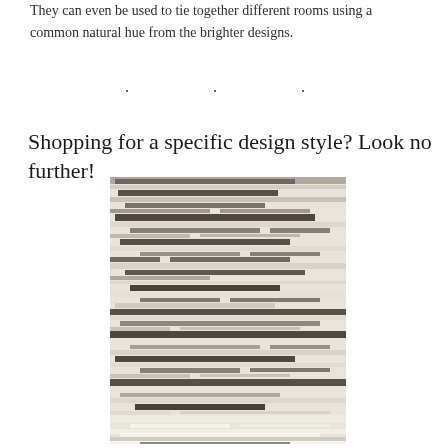They can even be used to tie together different rooms using a common natural hue from the brighter designs.
. . .
Shopping for a specific design style? Look no further!
[Figure (photo): A close-up photograph of an abstract striped rug with horizontal streaks in shades of gray, beige, cream, and dark charcoal on a light background, giving a painterly, modern design appearance.]